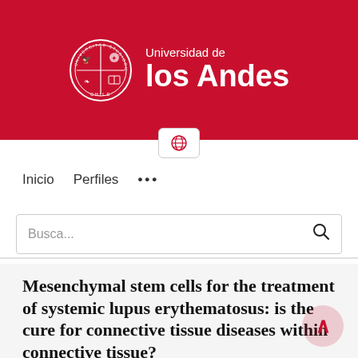[Figure (logo): Universidad de los Andes university logo with red banner background, seal/crest on left and text on right reading 'Universidad de los Andes']
Inicio   Perfiles   ...
Busca...
Mesenchymal stem cells for the treatment of systemic lupus erythematosus: is the cure for connective tissue diseases within connective tissue?